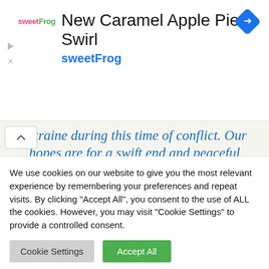[Figure (screenshot): Advertisement banner for sweetFrog featuring 'New Caramel Apple Pie Swirl' with sweetFrog logo and navigation icon]
[Figure (screenshot): Ukraine solidarity message banner with italic blue text and decorative hearts, collapse button on left]
We use cookies on our website to give you the most relevant experience by remembering your preferences and repeat visits. By clicking "Accept All", you consent to the use of ALL the cookies. However, you may visit "Cookie Settings" to provide a controlled consent.
Cookie Settings
Accept All